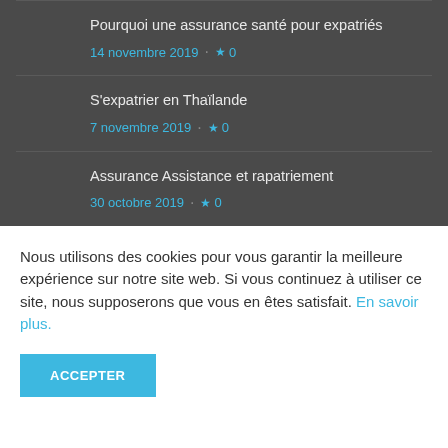Pourquoi une assurance santé pour expatriés
14 novembre 2019  ★0
S'expatrier en Thaïlande
7 novembre 2019  ★0
Assurance Assistance et rapatriement
30 octobre 2019  ★0
Nous utilisons des cookies pour vous garantir la meilleure expérience sur notre site web. Si vous continuez à utiliser ce site, nous supposerons que vous en êtes satisfait. En savoir plus.
ACCEPTER